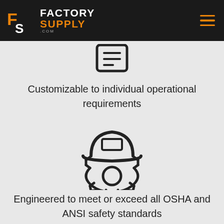Factory Supply .com
[Figure (illustration): Partial icon of a tablet/clipboard device at top of page]
Customizable to individual operational requirements
[Figure (illustration): Icon of a safety hard hat combined with a gear/cog wheel]
Engineered to meet or exceed all OSHA and ANSI safety standards